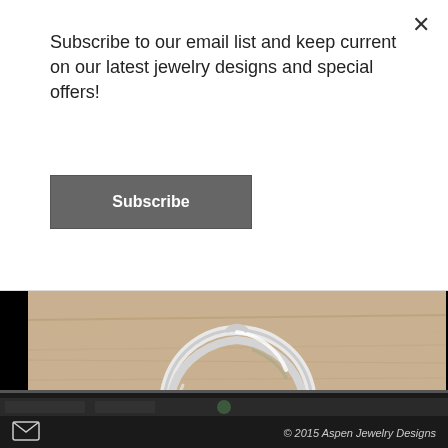Subscribe to our email list and keep current on our latest jewelry designs and special offers!
Subscribe
[Figure (photo): Close-up photo of a sterling silver entwined necklace pendant on a tan/beige wood surface. The pendant is a geometric shape resembling two intertwined rounded-square wire rings forming a diamond/rhombus shape.]
Sterling silver entwined necklace. $185.00
Purchase Info
© 2015 Aspen Jewelry Designs